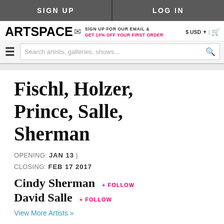SIGN UP | LOG IN
ARTSPACE — SIGN UP FOR OUR EMAIL & GET 10% OFF YOUR FIRST ORDER — $ USD | cart
Search artists, galleries, shows...
Fischl, Holzer, Prince, Salle, Sherman
OPENING: JAN 13 | CLOSING: FEB 17 2017
Cindy Sherman + FOLLOW
David Salle + FOLLOW
View More Artists »